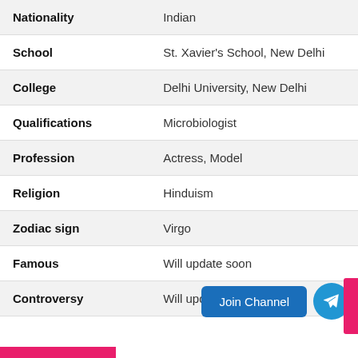| Field | Value |
| --- | --- |
| Nationality | Indian |
| School | St. Xavier's School, New Delhi |
| College | Delhi University, New Delhi |
| Qualifications | Microbiologist |
| Profession | Actress, Model |
| Religion | Hinduism |
| Zodiac sign | Virgo |
| Famous | Will update soon |
| Controversy | Will update soon |